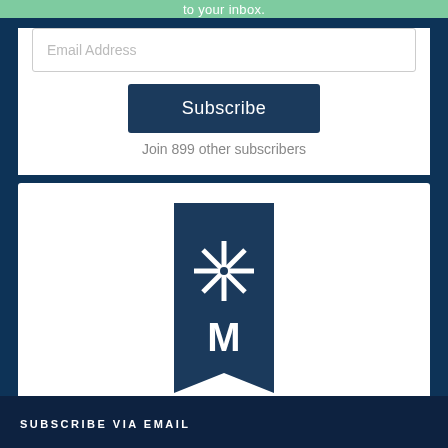to your inbox.
Email Address
Subscribe
Join 899 other subscribers
[Figure (logo): Minnesota State logo: dark blue pennant/banner shape with a white 8-pointed star above a white letter M]
MINNESOTA STATE
SUBSCRIBE VIA EMAIL